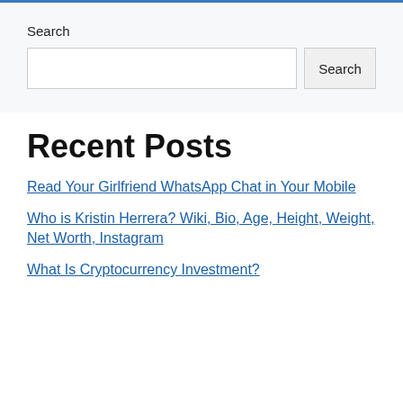Search
Search [input field] Search [button]
Recent Posts
Read Your Girlfriend WhatsApp Chat in Your Mobile
Who is Kristin Herrera? Wiki, Bio, Age, Height, Weight, Net Worth, Instagram
What Is Cryptocurrency Investment?